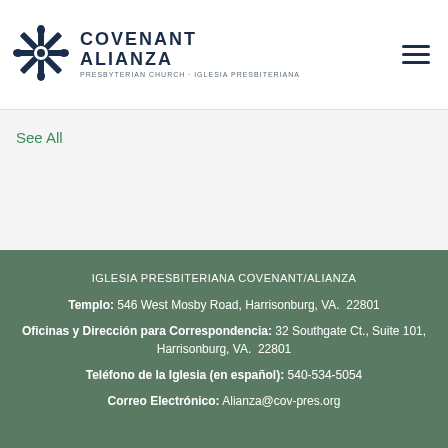[Figure (logo): Covenant Alianza Presbyterian Church logo with snowflake/cross emblem and text COVENANT ALIANZA PRESBYTERIAN CHURCH · IGLESIA PRESBITERIANA]
See All
IGLESIA PRESBITERIANA COVENANT/ALIANZA
Templo: 546 West Mosby Road, Harrisonburg, VA.  22801
Oficinas y Dirección para Correspondencia: 32 Southgate Ct., Suite 101, Harrisonburg, VA.  22801
Teléfono de la Iglesia (en español): 540-534-5054
Correo Electrónico: Alianza@cov-pres.org